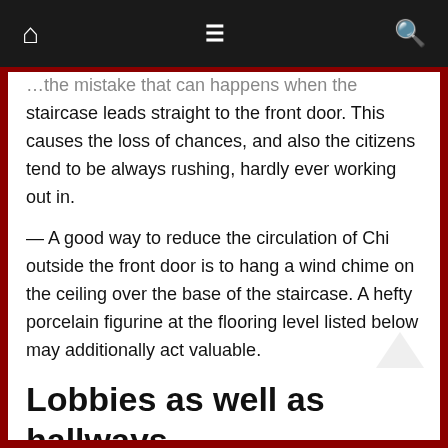[navigation bar with home, menu, and search icons]
...the mistake that can happens when the staircase leads straight to the front door. This causes the loss of chances, and also the citizens tend to be always rushing, hardly ever working out in.
— A good way to reduce the circulation of Chi outside the front door is to hang a wind chime on the ceiling over the base of the staircase. A hefty porcelain figurine at the flooring level listed below may additionally act valuable.
Lobbies as well as hallways
— Hallways need to be devoid of impediments